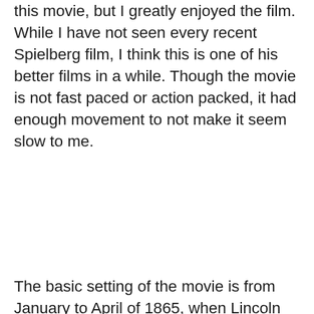this movie, but I greatly enjoyed the film. While I have not seen every recent Spielberg film, I think this is one of his better films in a while. Though the movie is not fast paced or action packed, it had enough movement to not make it seem slow to me.
The basic setting of the movie is from January to April of 1865, when Lincoln was trying to pass the thirteenth amendment to the constitution abolishing slavery and the U.S. Civil War was coming to an end. It worked out well that Spielberg chose a small part of Lincoln's life to make into a movie. If he had not I do not think he would have been as successful as he was with this film. The time frame that they ended up choosing